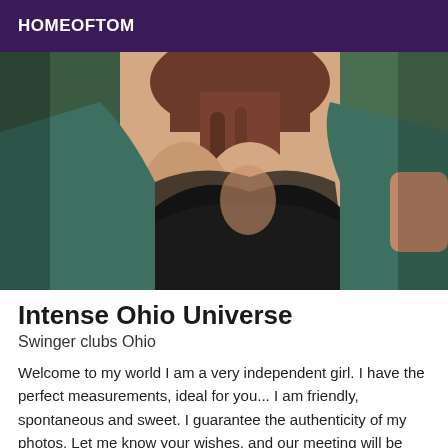HOMEOFTOM
[Figure (photo): Close-up photo of a woman in a teal/green cardigan with black top, taking a selfie in a mirror]
Intense Ohio Universe
Swinger clubs Ohio
Welcome to my world I am a very independent girl. I have the perfect measurements, ideal for you... I am friendly, spontaneous and sweet. I guarantee the authenticity of my photos. Let me know your wishes, and our meeting will be more harmonious and symbiotic. I